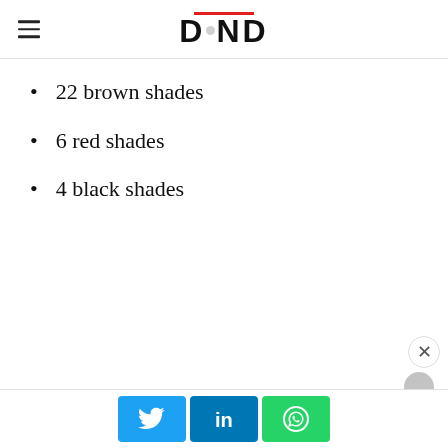DND
22 brown shades
6 red shades
4 black shades
[Figure (other): Social share buttons: Twitter, LinkedIn, WhatsApp]